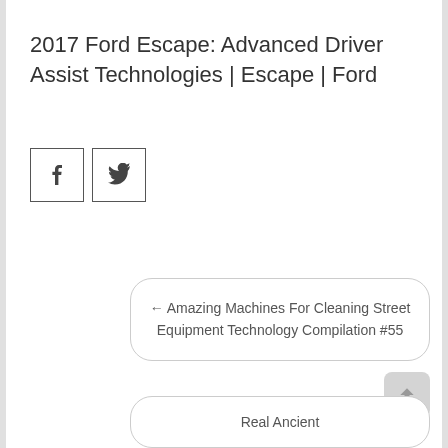2017 Ford Escape: Advanced Driver Assist Technologies | Escape | Ford
[Figure (other): Social share buttons: Facebook (f) and Twitter (bird icon) square icon buttons]
← Amazing Machines For Cleaning Street Equipment Technology Compilation #55
Real Ancient